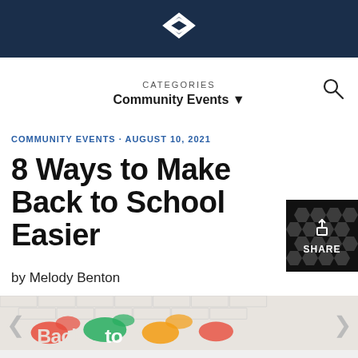CATEGORIES
Community Events ▼
COMMUNITY EVENTS · AUGUST 10, 2021
8 Ways to Make Back to School Easier
by Melody Benton
[Figure (other): SHARE button with upload/share icon on dark background with honeycomb pattern]
[Figure (photo): Colorful back-to-school graffiti-style image on a white brick wall showing 'Back to' text in bright paint splatter style]